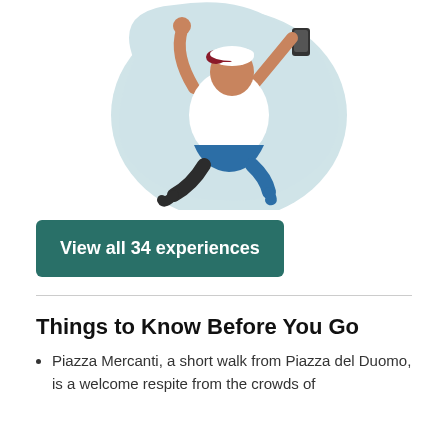[Figure (illustration): Illustration of a person taking a selfie, jumping in the air with one arm raised, wearing a white top, blue shorts, and a red cap, against a light blue blob background.]
View all 34 experiences
Things to Know Before You Go
Piazza Mercanti, a short walk from Piazza del Duomo, is a welcome respite from the crowds of